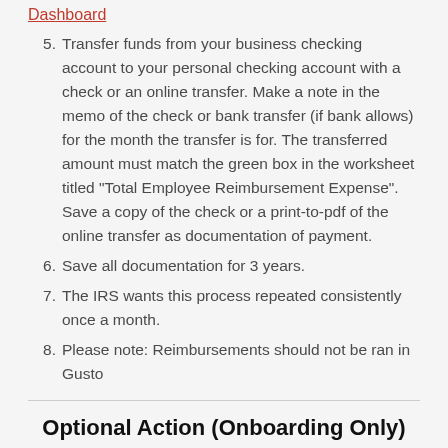Dashboard
5. Transfer funds from your business checking account to your personal checking account with a check or an online transfer. Make a note in the memo of the check or bank transfer (if bank allows) for the month the transfer is for. The transferred amount must match the green box in the worksheet titled "Total Employee Reimbursement Expense". Save a copy of the check or a print-to-pdf of the online transfer as documentation of payment.
6. Save all documentation for 3 years.
7. The IRS wants this process repeated consistently once a month.
8. Please note: Reimbursements should not be ran in Gusto
Optional Action (Onboarding Only)